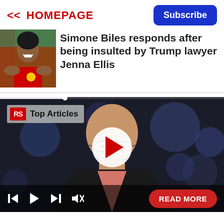<< HOMEPAGE
Subscribe
Simone Biles responds after being insulted by Trump lawyer Jenna Ellis
[Figure (photo): Photo of Simone Biles holding a gold medal, smiling, wearing USA uniform]
[Figure (screenshot): Video player showing a bald man in a dark jacket, with RS Top Articles badge, play button overlay, video controls at bottom, and READ MORE button]
Top Articles
READ MORE